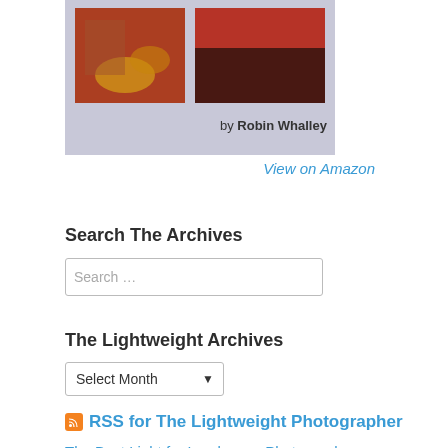[Figure (photo): Book cover image by Robin Whalley showing landscape photography]
View on Amazon
Search The Archives
Search ...
The Lightweight Archives
Select Month
RSS for The Lightweight Photographer
The Best Light for Landscape Photography